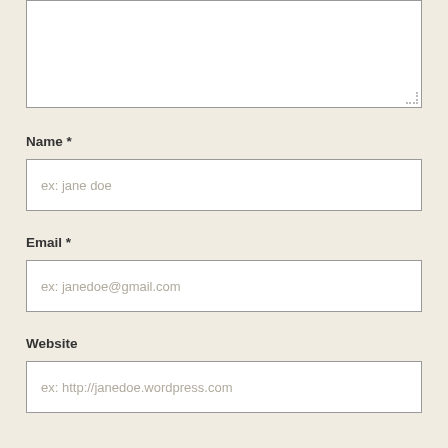[Figure (other): Empty textarea input box at top of page]
Name *
[Figure (other): Text input field with placeholder text 'ex: jane doe']
Email *
[Figure (other): Text input field with placeholder text 'ex: janedoe@gmail.com']
Website
[Figure (other): Text input field with placeholder text 'ex: http://janedoe.wordpress.com']